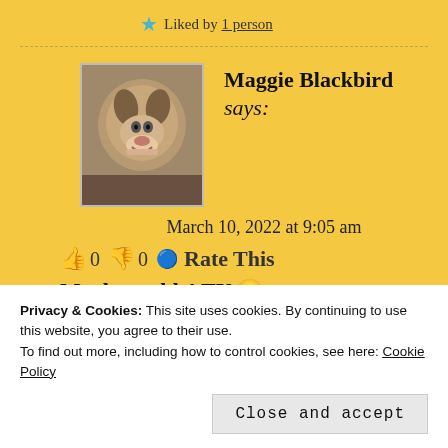★ Liked by 1 person
Maggie Blackbird says: March 10, 2022 at 9:05 am 👍 0 👎 0 ℹ️ Rate This Much trouble! TY 🙂
Privacy & Cookies: This site uses cookies. By continuing to use this website, you agree to their use. To find out more, including how to control cookies, see here: Cookie Policy
Close and accept